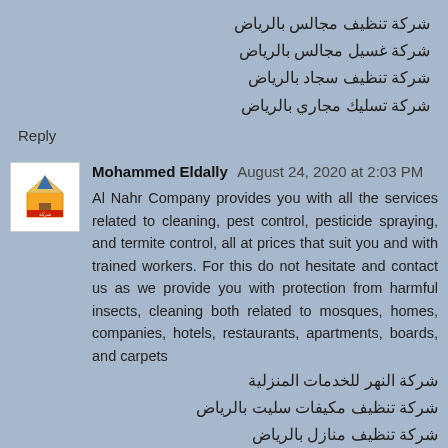شركة تنظيف مجالس بالرياض
شركة غسيل مجالس بالرياض
شركة تنظيف سجاد بالرياض
شركة تسليك مجاري بالرياض
Reply
Mohammed Eldally  August 24, 2020 at 2:03 PM
Al Nahr Company provides you with all the services related to cleaning, pest control, pesticide spraying, and termite control, all at prices that suit you and with trained workers. For this do not hesitate and contact us as we provide you with protection from harmful insects, cleaning both related to mosques, homes, companies, hotels, restaurants, apartments, boards, and carpets
شركة النهر للخدمات المنزلية
شركة تنظيف مكيفات سليت بالرياض
شركة تنظيف منازل بالرياض
شركة تنظيف مجالس بالرياض
شركة غسيل مجالس بالرياض
شركة تنظيف سجاد بالرياض
شركة تسليك مجاري بالرياض